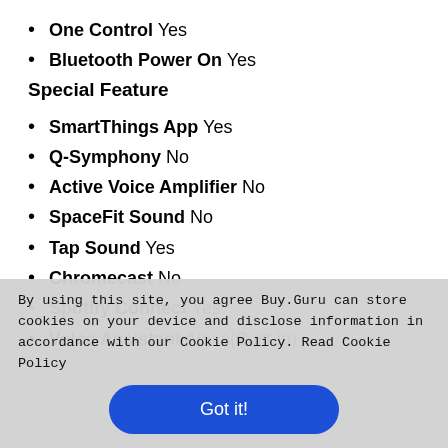One Control Yes
Bluetooth Power On Yes
Special Feature
SmartThings App Yes
Q-Symphony No
Active Voice Amplifier No
SpaceFit Sound No
Tap Sound Yes
Chromecast No
Spotify Connect Yes
Voice Assistant Alexa(Built-in)
By using this site, you agree Buy.Guru can store cookies on your device and disclose information in accordance with our Cookie Policy. Read Cookie Policy
Got it!